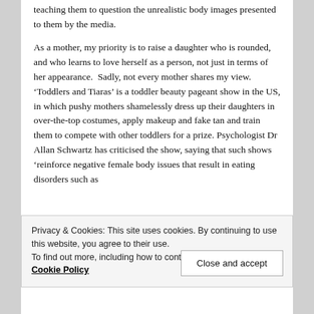teaching them to question the unrealistic body images presented to them by the media.
As a mother, my priority is to raise a daughter who is rounded, and who learns to love herself as a person, not just in terms of her appearance.  Sadly, not every mother shares my view. ‘Toddlers and Tiaras’ is a toddler beauty pageant show in the US, in which pushy mothers shamelessly dress up their daughters in over-the-top costumes, apply makeup and fake tan and train them to compete with other toddlers for a prize. Psychologist Dr Allan Schwartz has criticised the show, saying that such shows ‘reinforce negative female body issues that result in eating disorders such as
Privacy & Cookies: This site uses cookies. By continuing to use this website, you agree to their use.
To find out more, including how to control cookies, see here: Cookie Policy
Close and accept